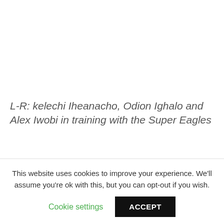L-R: kelechi Iheanacho, Odion Ighalo and Alex Iwobi in training with the Super Eagles
Iwobi, 20, has played a fair amount of games for Arsenal after breaking through in 2015/16 season and Oliseh, capped 54 times by the Super Eagles Iwobi can become the best in the world
This website uses cookies to improve your experience. We'll assume you're ok with this, but you can opt-out if you wish.